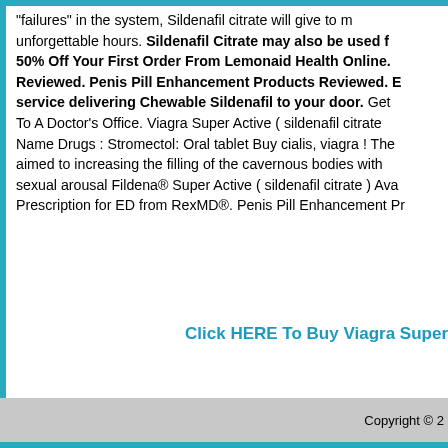"failures" in the system, Sildenafil citrate will give to m unforgettable hours. Sildenafil Citrate may also be used f 50% Off Your First Order From Lemonaid Health Online. Reviewed. Penis Pill Enhancement Products Reviewed. B service delivering Chewable Sildenafil to your door. Get To A Doctor's Office. Viagra Super Active ( sildenafil citrate Name Drugs : Stromectol: Oral tablet Buy cialis, viagra ! The aimed to increasing the filling of the cavernous bodies with sexual arousal Fildena® Super Active ( sildenafil citrate ) Ava Prescription for ED from RexMD®. Penis Pill Enhancement Pr
Click HERE To Buy Viagra Super
Copyright © 2